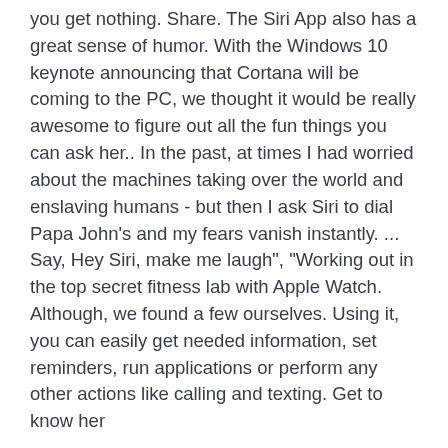you get nothing. Share. The Siri App also has a great sense of humor. With the Windows 10 keynote announcing that Cortana will be coming to the PC, we thought it would be really awesome to figure out all the fun things you can ask her.. In the past, at times I had worried about the machines taking over the world and enslaving humans - but then I ask Siri to dial Papa John's and my fears vanish instantly. ... Say, Hey Siri, make me laugh", "Working out in the top secret fitness lab with Apple Watch. Although, we found a few ourselves. Using it, you can easily get needed information, set reminders, run applications or perform any other actions like calling and texting. Get to know her